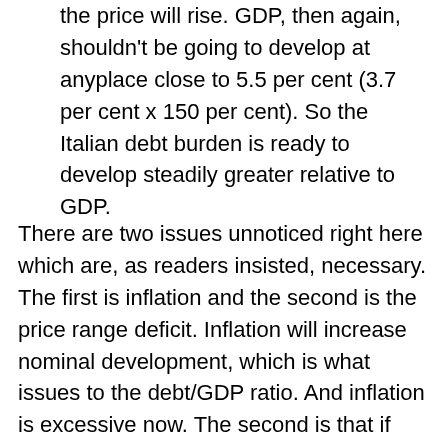the price will rise. GDP, then again, shouldn't be going to develop at anyplace close to 5.5 per cent (3.7 per cent x 150 per cent). So the Italian debt burden is ready to develop steadily greater relative to GDP.
There are two issues unnoticed right here which are, as readers insisted, necessary. The first is inflation and the second is the price range deficit. Inflation will increase nominal development, which is what issues to the debt/GDP ratio. And inflation is excessive now. The second is that if Italy can run a major (that's, pre-interest) surplus, then it has extra respiration room to service debt — because it doesn't have to faucet capital markets to pay for fundamental spending.